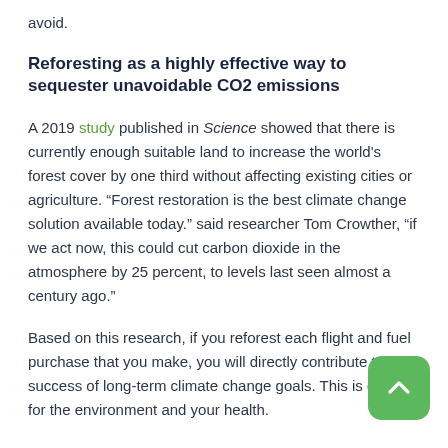avoid.
Reforesting as a highly effective way to sequester unavoidable CO2 emissions
A 2019 study published in Science showed that there is currently enough suitable land to increase the world's forest cover by one third without affecting existing cities or agriculture. “Forest restoration is the best climate change solution available today.” said researcher Tom Crowther, “if we act now, this could cut carbon dioxide in the atmosphere by 25 percent, to levels last seen almost a century ago.”
Based on this research, if you reforest each flight and fuel purchase that you make, you will directly contribute to the success of long-term climate change goals. This is good for the environment and your health.